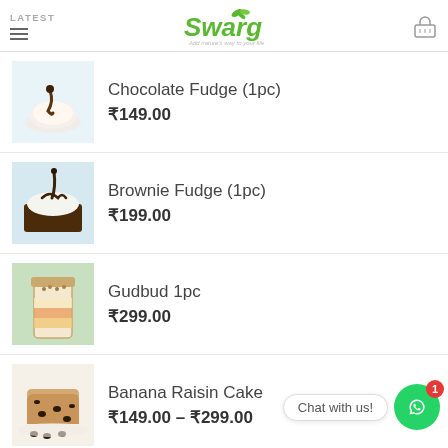LATEST | Swarg - Add nature's way to your life
Chocolate Fudge (1pc) ₹149.00
Brownie Fudge (1pc) ₹199.00
Gudbud 1pc ₹299.00
Banana Raisin Cake ₹149.00 – ₹299.00
BEST SELLING
Chat with us!